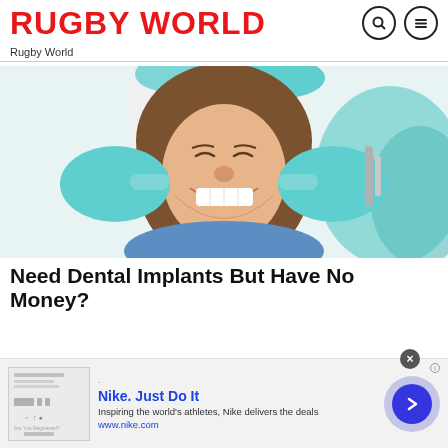RUGBY WORLD
Rugby World
[Figure (photo): A smiling young woman in a dental chair with a dentist in a white coat and teal gloves pointing at her cheeks from behind, with a teal dental chair visible in the background.]
Need Dental Implants But Have No Money?
[Figure (infographic): Advertisement banner for Nike. Just Do It — Inspiring the world's athletes, Nike delivers the deals. www.nike.com]